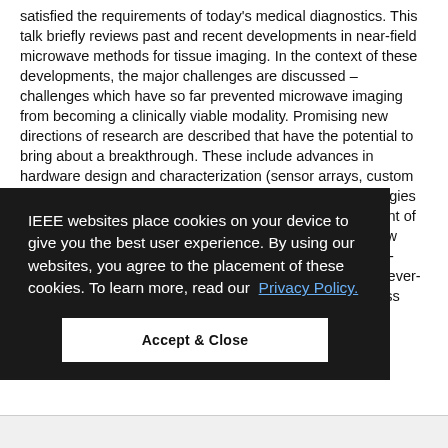satisfied the requirements of today's medical diagnostics. This talk briefly reviews past and recent developments in near-field microwave methods for tissue imaging. In the context of these developments, the major challenges are discussed – challenges which have so far prevented microwave imaging from becoming a clinically viable modality. Promising new directions of research are described that have the potential to bring about a breakthrough. These include advances in hardware design and characterization (sensor arrays, custom and laboratory measurement instrumentation), methodologies for tissue-parameter characterization, and the development of data-processing algorithms. The talk will also highlight new opportunities for microwave imaging, review and machine-learning, and measurement upon developments. The ever-expanding field of microwave imaging continues to address some of society's most challenging problems.
IEEE websites place cookies on your device to give you the best user experience. By using our websites, you agree to the placement of these cookies. To learn more, read our Privacy Policy.
Accept & Close